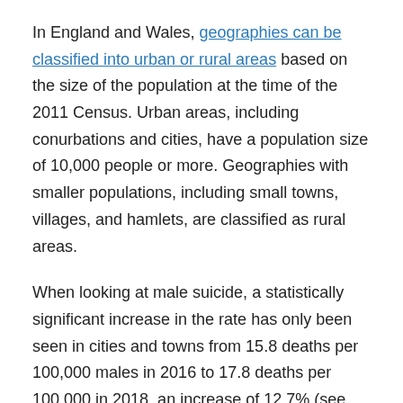In England and Wales, geographies can be classified into urban or rural areas based on the size of the population at the time of the 2011 Census. Urban areas, including conurbations and cities, have a population size of 10,000 people or more. Geographies with smaller populations, including small towns, villages, and hamlets, are classified as rural areas.
When looking at male suicide, a statistically significant increase in the rate has only been seen in cities and towns from 15.8 deaths per 100,000 males in 2016 to 17.8 deaths per 100,000 in 2018, an increase of 12.7% (see Figure 12). Of the different kinds of rural and urban areas, cities and towns accounted for the most suicides during the period: 48.1% (or 5,646 out of th...